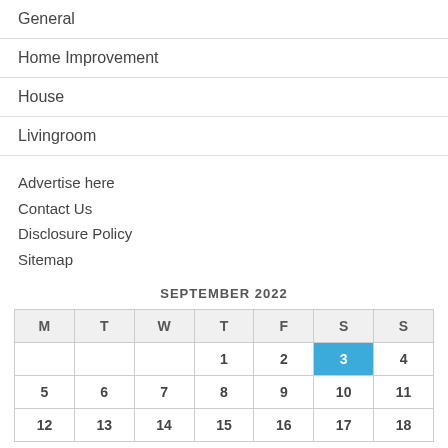General
Home Improvement
House
Livingroom
Advertise here
Contact Us
Disclosure Policy
Sitemap
SEPTEMBER 2022
| M | T | W | T | F | S | S |
| --- | --- | --- | --- | --- | --- | --- |
|  |  |  | 1 | 2 | 3 | 4 |
| 5 | 6 | 7 | 8 | 9 | 10 | 11 |
| 12 | 13 | 14 | 15 | 16 | 17 | 18 |